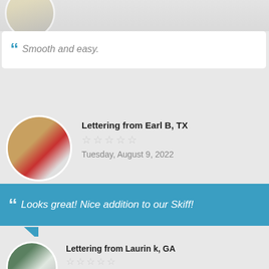[Figure (photo): Partial view of a circular avatar with a boat image at top of page]
Smooth and easy.
Lettering from Earl B, TX
Tuesday, August 9, 2022
Looks great! Nice addition to our Skiff!
Lettering from Laurin k, GA
Thursday, August 4, 2022